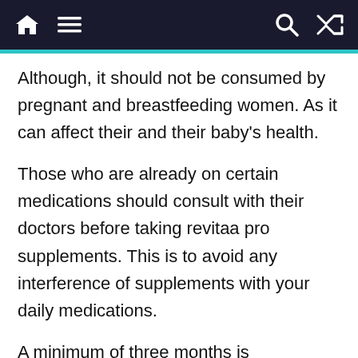Navigation bar with home, menu, search, and shuffle icons
Although, it should not be consumed by pregnant and breastfeeding women. As it can affect their and their baby's health.
Those who are already on certain medications should consult with their doctors before taking revitaa pro supplements. This is to avoid any interference of supplements with your daily medications.
A minimum of three months is recommended to experience notable and best results. And you may have to continue it for a long time depending on how much